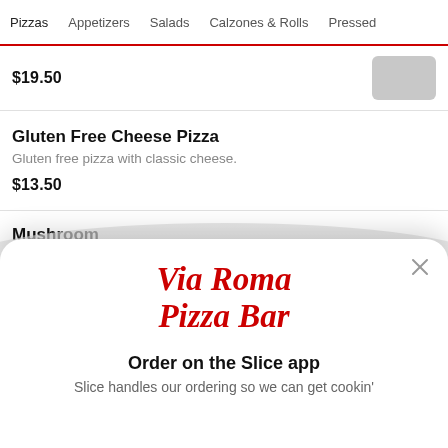Pizzas   Appetizers   Salads   Calzones & Rolls   Pressed
$19.50
Gluten Free Cheese Pizza
Gluten free pizza with classic cheese.
$13.50
Mushroom
[Figure (screenshot): Modal popup for Via Roma Pizza Bar app promotion with text 'Order on the Slice app' and 'Slice handles our ordering so we can get cookin']
Via Roma
Pizza Bar
Order on the Slice app
Slice handles our ordering so we can get cookin'